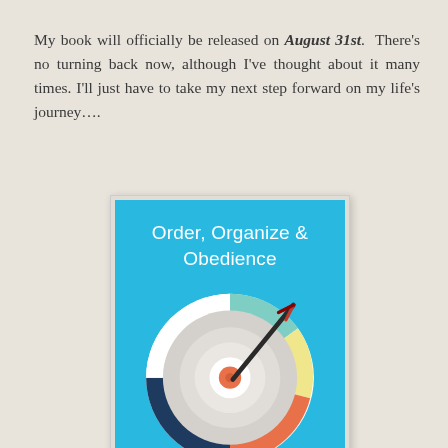My book will officially be released on August 31st. There's no turning back now, although I've thought about it many times. I'll just have to take my next step forward on my life's journey….
[Figure (illustration): Book cover for 'Order, Organize & Obedience' — sky-blue background with a concentric target/bullseye graphic. The target has colored ring segments (dark navy, teal/mint, light yellow, orange/coral) and a dark arrow piercing the center. The bullseye center is orange with grey rings around it and a white outer ring.]